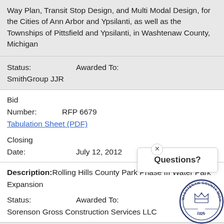Way Plan, Transit Stop Design, and Multi Modal Design, for the Cities of Ann Arbor and Ypsilanti, as well as the Townships of Pittsfield and Ypsilanti, in Washtenaw County, Michigan
Status: Awarded To:
SmithGroup JJR
Bid
Number: RFP 6679
Tabulation Sheet (PDF)
Closing
Date: July 12, 2012
Description:Rolling Hills County Park Phase III Water Park Expansion
Status: Awarded To:
Sorenson Gross Construction Services LLC
Bid
Number: RFP 6678
[Figure (illustration): Washtenaw County seal with crown and text 'WASHTENAW COUNTY MICHIGAN 1826']